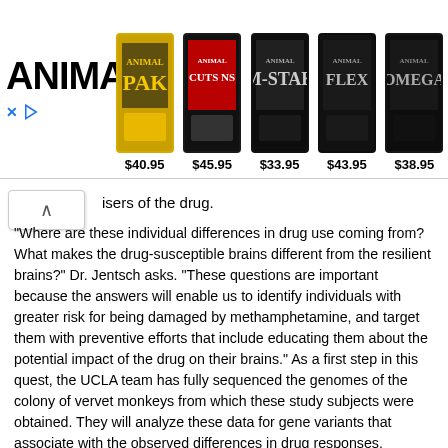[Figure (advertisement): Animal brand supplement advertisement banner showing logo and 5 product containers with prices: $40.95, $45.95, $33.95, $43.95, $38.95]
isers of the drug.
"Where are these individual differences in drug use coming from? What makes the drug-susceptible brains different from the resilient brains?" Dr. Jentsch asks. “These questions are important because the answers will enable us to identify individuals with greater risk for being damaged by methamphetamine, and target them with preventive efforts that include educating them about the potential impact of the drug on their brains.” As a first step in this quest, the UCLA team has fully sequenced the genomes of the colony of vervet monkeys from which these study subjects were obtained. They will analyze these data for gene variants that associate with the observed differences in drug responses.
Ultimately, can methamphetamine’s disruptive effects on the brain be reversed? In the UCLA study, the methamphetamine-induced changes persisted through the final cognitive and behavioral assessments, which occurred 3 weeks after the animals received their last dose of the drug. Therefore, Dr. Jentsch says, to answer this question, future studies should track primate brains through longer abstinence.